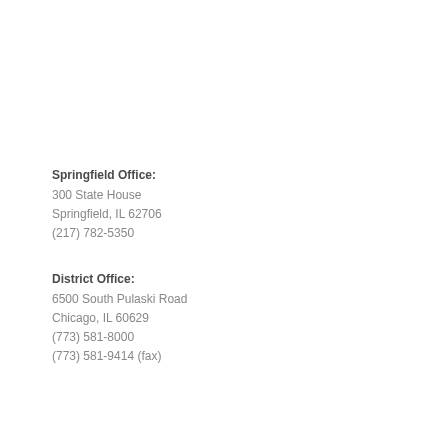Springfield Office:
300 State House
Springfield, IL 62706
(217) 782-5350
District Office:
6500 South Pulaski Road
Chicago, IL 60629
(773) 581-8000
(773) 581-9414 (fax)